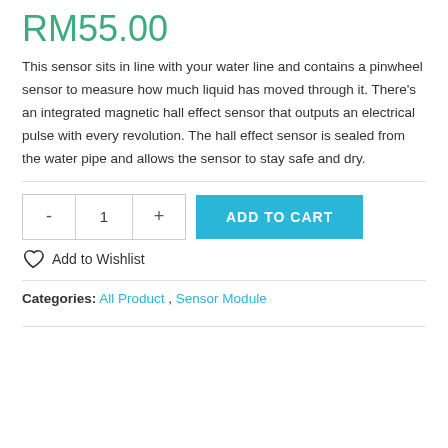RM55.00
This sensor sits in line with your water line and contains a pinwheel sensor to measure how much liquid has moved through it. There’s an integrated magnetic hall effect sensor that outputs an electrical pulse with every revolution. The hall effect sensor is sealed from the water pipe and allows the sensor to stay safe and dry.
ADD TO CART
Add to Wishlist
Categories: All Product, Sensor Module